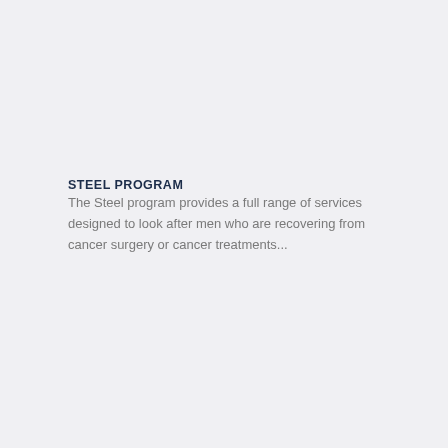STEEL PROGRAM
The Steel program provides a full range of services designed to look after men who are recovering from cancer surgery or cancer treatments...